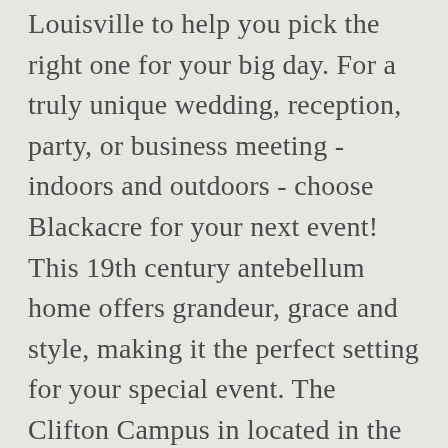Louisville to help you pick the right one for your big day. For a truly unique wedding, reception, party, or business meeting - indoors and outdoors - choose Blackacre for your next event! This 19th century antebellum home offers grandeur, grace and style, making it the perfect setting for your special event. The Clifton Campus in located in the heart of Frankfort Avenue and offers several spaces for rent. This outdoor wedding venue just north of Louisville, KY was first built in the 1830s, ... Experience the magic and grandeur of the Victorian Era and wow your guests when you invite them to the Conrad-Ca, Looking for a reception hall or hall rental Louisville KY? Location: 301 S Peterson Ave, Louisville, KY